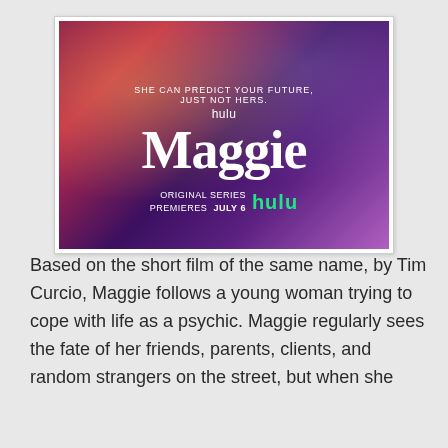[Figure (photo): Promotional poster for Hulu original series 'Maggie'. Shows two women with colorful hair against a purple/magenta background. Text reads: 'SHE CAN PREDICT YOUR FUTURE, JUST NOT HERS.' with 'hulu' above the title 'Maggie', and 'ORIGINAL SERIES PREMIERES JULY 6' followed by the green Hulu logo.]
Based on the short film of the same name, by Tim Curcio, Maggie follows a young woman trying to cope with life as a psychic. Maggie regularly sees the fate of her friends, parents, clients, and random strangers on the street, but when she